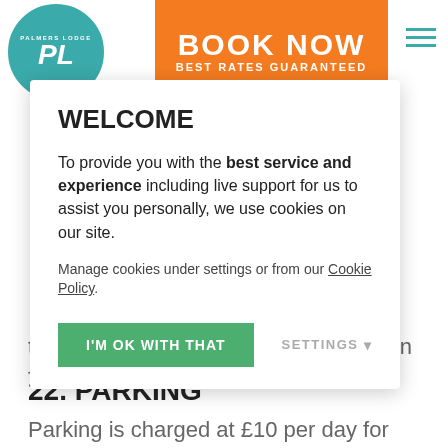BOOK NOW - BEST RATES GUARANTEED
WELCOME
To provide you with the best service and experience including live support for us to assist you personally, we use cookies on our site.
Manage cookies under settings or from our Cookie Policy.
I'M OK WITH THAT
SETTINGS
the day of arrival for all accommodation fees.
22. PARKING
Parking is charged at £10 per day for guests and £15 per day for non-guests. Parking is